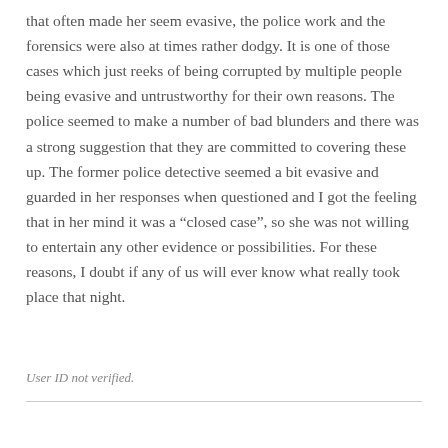that often made her seem evasive, the police work and the forensics were also at times rather dodgy. It is one of those cases which just reeks of being corrupted by multiple people being evasive and untrustworthy for their own reasons. The police seemed to make a number of bad blunders and there was a strong suggestion that they are committed to covering these up. The former police detective seemed a bit evasive and guarded in her responses when questioned and I got the feeling that in her mind it was a “closed case”, so she was not willing to entertain any other evidence or possibilities. For these reasons, I doubt if any of us will ever know what really took place that night.
User ID not verified.